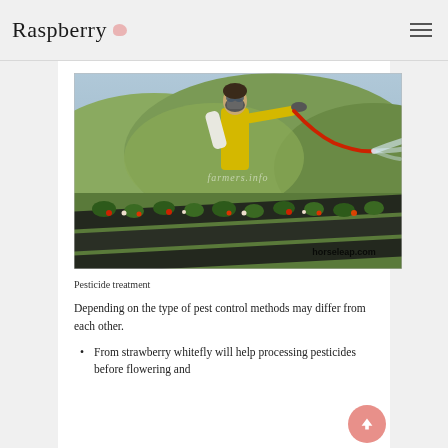Raspberry
[Figure (photo): A person wearing yellow protective overalls, a white jacket, and a respirator mask, spraying pesticide with a red hose over rows of strawberry plants growing under black plastic mulch, with green hills in the background. Watermarks: 'farmers.info' and 'horseleap.com']
Pesticide treatment
Depending on the type of pest control methods may differ from each other.
From strawberry whitefly will help processing pesticides before flowering and